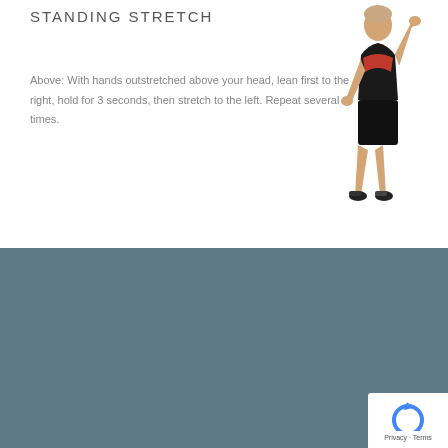STANDING STRETCH
[Figure (illustration): Person performing a standing side stretch with hands raised above head, wearing black athletic shorts and sports top]
Above: With hands outstretched above your head, lean first to the right, hold for 3 seconds, then stretch to the left. Repeat several times.
Do you NEED spine surgery?
Do you have pain that radiates into an arm or leg?
Do you have any numbess or weakness in a foot or hand?